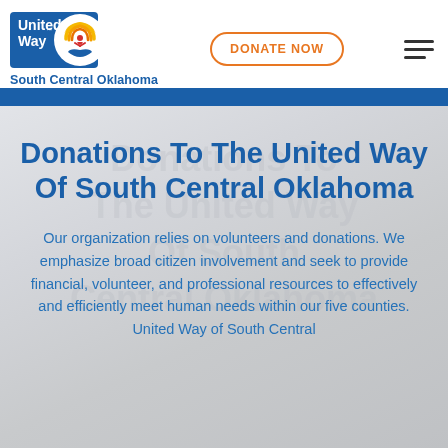[Figure (logo): United Way South Central Oklahoma logo with blue background, orange/yellow arc rays, and white hand holding a person figure]
DONATE NOW
[Figure (illustration): Hamburger menu icon — three horizontal lines]
Donations To The United Way Of South Central Oklahoma
Our organization relies on volunteers and donations. We emphasize broad citizen involvement and seek to provide financial, volunteer, and professional resources to effectively and efficiently meet human needs within our five counties. United Way of South Central